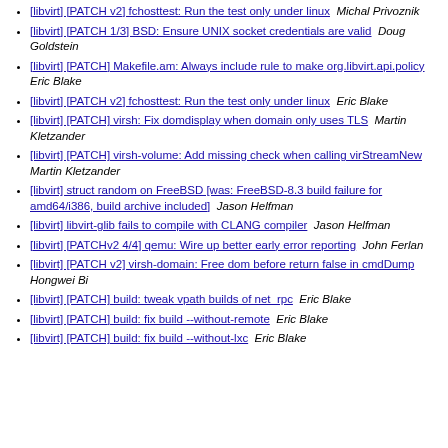[libvirt] [PATCH v2] fchosttest: Run the test only under linux   Michal Privoznik
[libvirt] [PATCH 1/3] BSD: Ensure UNIX socket credentials are valid   Doug Goldstein
[libvirt] [PATCH] Makefile.am: Always include rule to make org.libvirt.api.policy   Eric Blake
[libvirt] [PATCH v2] fchosttest: Run the test only under linux   Eric Blake
[libvirt] [PATCH] virsh: Fix domdisplay when domain only uses TLS   Martin Kletzander
[libvirt] [PATCH] virsh-volume: Add missing check when calling virStreamNew   Martin Kletzander
[libvirt] struct random on FreeBSD [was: FreeBSD-8.3 build failure for amd64/i386, build archive included]   Jason Helfman
[libvirt] libvirt-glib fails to compile with CLANG compiler   Jason Helfman
[libvirt] [PATCHv2 4/4] qemu: Wire up better early error reporting   John Ferlan
[libvirt] [PATCH v2] virsh-domain: Free dom before return false in cmdDump   Hongwei Bi
[libvirt] [PATCH] build: tweak vpath builds of net_rpc   Eric Blake
[libvirt] [PATCH] build: fix build --without-remote   Eric Blake
[libvirt] [PATCH] build: fix build --without-lxc   Eric Blake